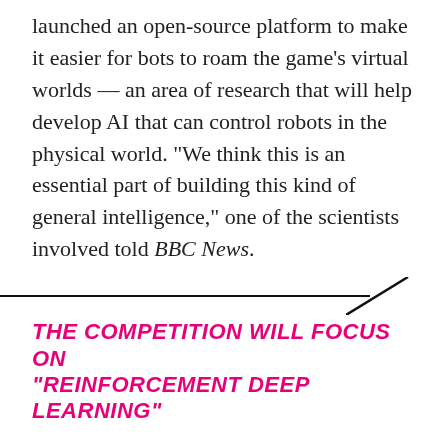launched an open-source platform to make it easier for bots to roam the game's virtual worlds — an area of research that will help develop AI that can control robots in the physical world. "We think this is an essential part of building this kind of general intelligence," one of the scientists involved told BBC News.
THE COMPETITION WILL FOCUS ON "REINFORCEMENT DEEP LEARNING"
The "Visual AI Doom Competition" is also encouraging competitors to create entries using an AI method known as "reinforcement deep learning." This combines regular deep learning (which mines large amounts of data to look for recurring patterns)